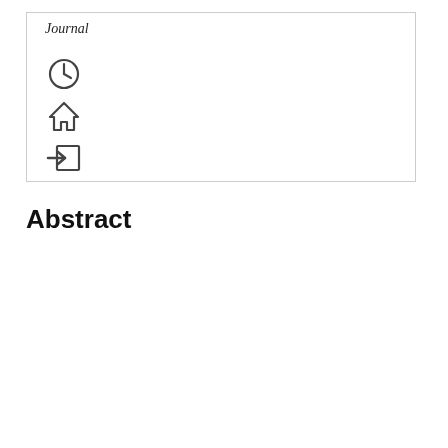Journal
[Figure (other): Three UI icons: a clock/history icon, a home icon, and a sign-in/enter icon, displayed vertically in a bordered box]
Abstract